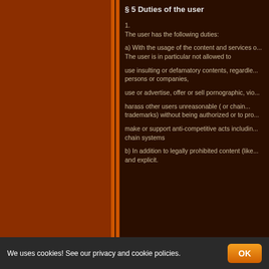§ 5 Duties of the user
1.
The user has the following duties:
a) With the usage of the content and services o... The user is in particular not allowed to
use insulting or defamatory contents, regardle... persons or companies,
use or advertise, offer or sell pornographic, vio...
harass other users unreasonable ( or chain... trademarks) without being authorized or to pro...
make or support anti-competitive acts includin... chain systems
b) In addition to legally prohibited content (like... and explicit.
We uses cookies! See our privacy and cookie policies.